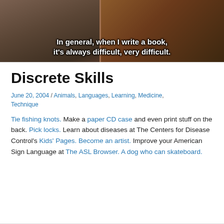[Figure (screenshot): Video screenshot with subtitle text: 'In general, when I write a book, it's always difficult, very difficult.' — dark brown/wood background with a person visible.]
Discrete Skills
June 20, 2004 / Animals, Languages, Learning, Medicine, Technique
Tie fishing knots. Make a paper CD case and even print stuff on the back. Pick locks. Learn about diseases at The Centers for Disease Control's Kids' Pages. Become an artist. Improve your American Sign Language at The ASL Browser. A dog who can skateboard.